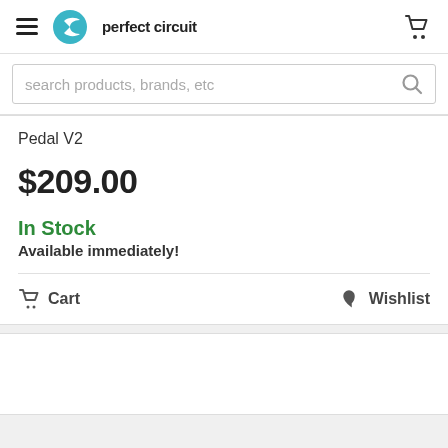perfect circuit
search products, brands, etc
Pedal V2
$209.00
In Stock
Available immediately!
Cart   Wishlist